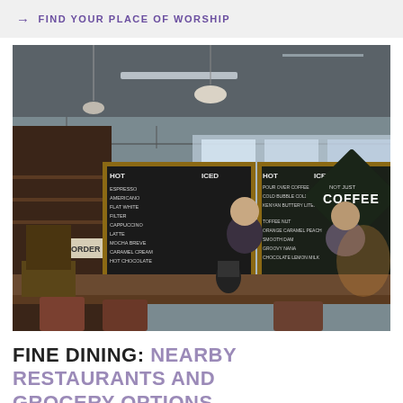→ FIND YOUR PLACE OF WORSHIP
[Figure (photo): Interior of a coffee shop with chalkboard menus labeled HOT, ICED, and a diamond-shaped COFFEE sign. Two staff members visible behind a wooden counter with equipment. Sign reading ORDER HERE on the left.]
FINE DINING: NEARBY RESTAURANTS AND GROCERY OPTIONS